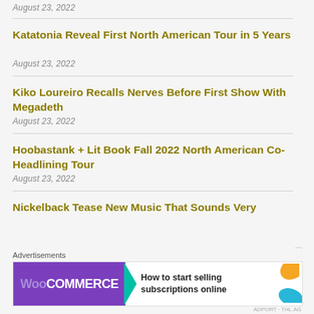August 23, 2022
Katatonia Reveal First North American Tour in 5 Years
August 23, 2022
Kiko Loureiro Recalls Nerves Before First Show With Megadeth
August 23, 2022
Hoobastank + Lit Book Fall 2022 North American Co-Headlining Tour
August 23, 2022
Nickelback Tease New Music That Sounds Very
[Figure (screenshot): WooCommerce advertisement banner: 'How to start selling subscriptions online']